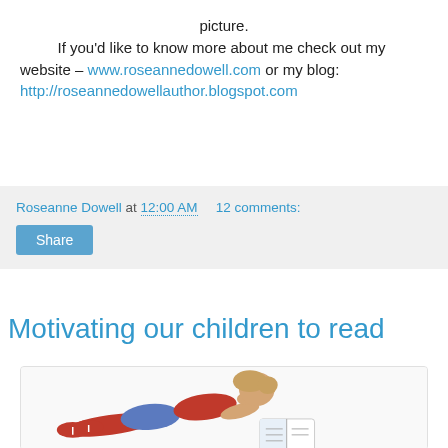picture. If you'd like to know more about me check out my website – www.roseannedowell.com or my blog: http://roseannedowellauthor.blogspot.com
Roseanne Dowell at 12:00 AM   12 comments:
Share
Saturday, February 12, 2011
Motivating our children to read
[Figure (photo): A young girl lying on her stomach reading a book, wearing a red top, denim skirt and red shoes, on a white background.]